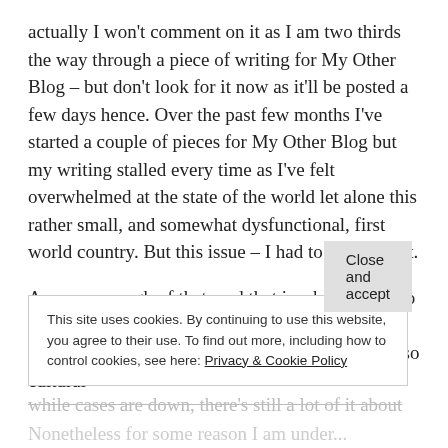actually I won't comment on it as I am two thirds the way through a piece of writing for My Other Blog – but don't look for it now as it'll be posted a few days hence. Over the past few months I've started a couple of pieces for My Other Blog but my writing stalled every time as I've felt overwhelmed at the state of the world let alone this rather small, and somewhat dysfunctional, first world country. But this issue – I had to write about.
Anyway enough of that, and that is why, people, to keep my sanity I surround myself with blogs written by lovely women, I read about fashion, also cultural
This site uses cookies. By continuing to use this website, you agree to their use. To find out more, including how to control cookies, see here: Privacy & Cookie Policy
Close and accept
while cases are down, there's still a lot of it about
Nonetheless for some reason I am under...